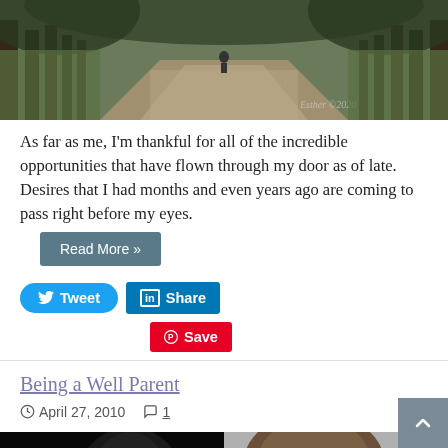[Figure (photo): A tree-lined path/avenue viewed from below, with a person walking in the distance. Watermark reads 'Esther ©2020'. Outdoor, natural lighting.]
As far as me, I'm thankful for all of the incredible opportunities that have flown through my door as of late. Desires that I had months and even years ago are coming to pass right before my eyes.
Read More »
Tweet
Share
Save
Being a Well Parent
April 27, 2010   1
[Figure (photo): Two black and white photos side by side. Left: a person's face/head in shadow against black background. Right: back of a person's head with hair visible.]